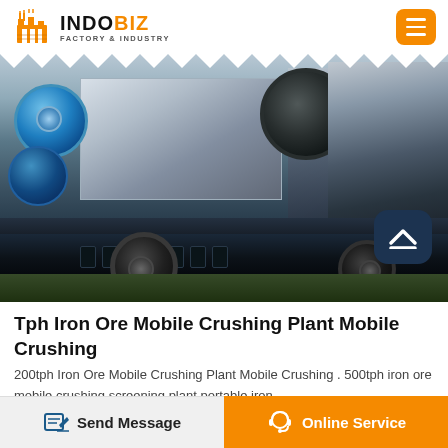INDOBIZ FACTORY & INDUSTRY
[Figure (photo): Mobile crushing plant / iron ore mobile crushing equipment on a flatbed trailer, showing blue electric motors on left, white crusher body in center, dark flywheel, and wheeled undercarriage, photographed in an industrial yard.]
Tph Iron Ore Mobile Crushing Plant Mobile Crushing
200tph Iron Ore Mobile Crushing Plant Mobile Crushing . 500tph iron ore mobile crushing screening plant portable iron
Send Message | Online Service